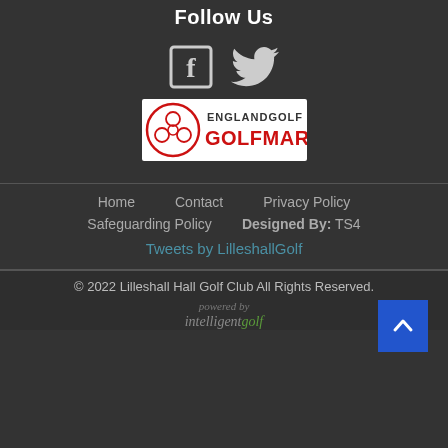Follow Us
[Figure (illustration): Facebook and Twitter social media icons side by side]
[Figure (logo): England Golf GolfMark logo]
Home   Contact   Privacy Policy
Safeguarding Policy   Designed By:  TS4
Tweets by LilleshallGolf
© 2022 Lilleshall Hall Golf Club All Rights Reserved.
[Figure (logo): Powered by intelligentgolf logo]